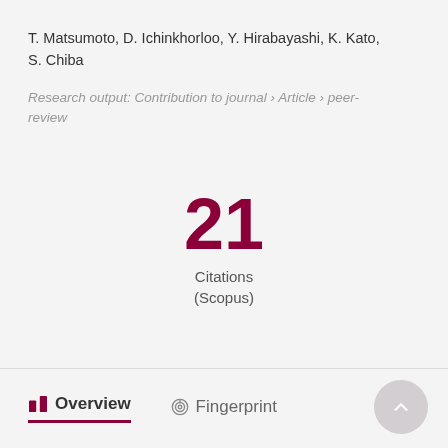T. Matsumoto, D. Ichinkhorloo, Y. Hirabayashi, K. Kato, S. Chiba
Research output: Contribution to journal › Article › peer-review
21
Citations
(Scopus)
Overview    Fingerprint